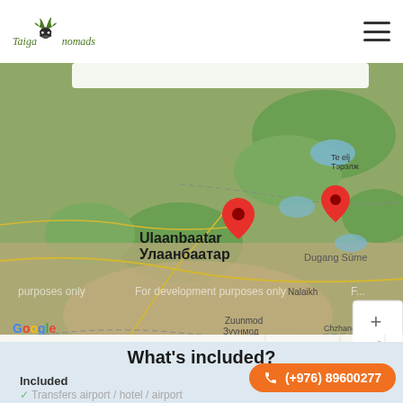Taiga Nomads
[Figure (map): Google Map showing Ulaanbaatar (Улаанбаатар) and a nearby location marked with red pins, with labels for Dugang Süme, Nalaikh, Zuunmod (Зуунмод), Sergelen (Сэргэлэн), Terelj (Тэрэлж), Chzhanchubling. Map shows 'For development purposes only' watermark. Google logo and map controls visible.]
What's included?
Included
Transfers airport / hotel / airport